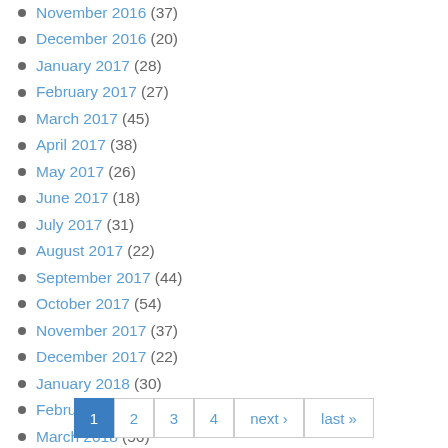November 2016 (37)
December 2016 (20)
January 2017 (28)
February 2017 (27)
March 2017 (45)
April 2017 (38)
May 2017 (26)
June 2017 (18)
July 2017 (31)
August 2017 (22)
September 2017 (44)
October 2017 (54)
November 2017 (37)
December 2017 (22)
January 2018 (30)
February 2018 (31)
March 2018 (56)
1 2 3 4 next › last »